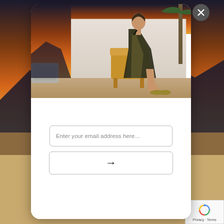[Figure (photo): Background sunset landscape with orange and purple sky, mountains silhouetted in foreground]
[Figure (photo): Fashion photo of a woman in a dark sequined gown seated on a chair outdoors against a white wall, with desert ground and sunset sky]
Enter your email address here...
[Figure (other): Submit arrow button (right-pointing arrow →)]
[Figure (other): reCAPTCHA badge with spinning logo and Privacy · Terms text]